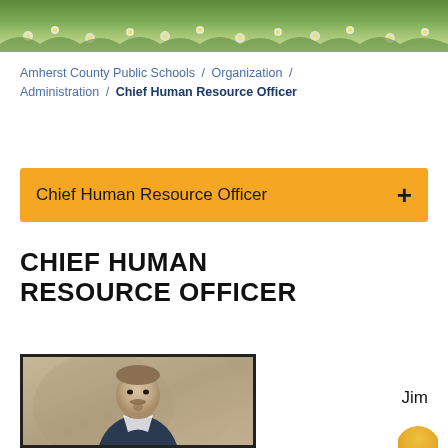[Figure (photo): Header landscape photo showing a field with white wildflowers and green grass]
Amherst County Public Schools / Organization / Administration / Chief Human Resource Officer
Chief Human Resource Officer  +
CHIEF HUMAN RESOURCE OFFICER
[Figure (photo): Professional portrait photo of a man named Jim, smiling, wearing a dark suit jacket, with a tan/brown studio background]
Jim